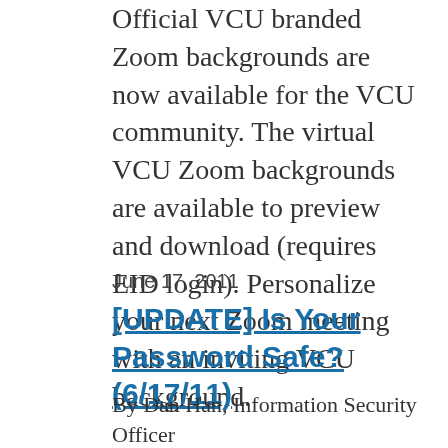Official VCU branded Zoom backgrounds are now available for the VCU community. The virtual VCU Zoom backgrounds are available to preview and download (requires EID login). Personalize your next Zoom meeting with an inviting VCU background.
June 17, 2011
[UPDATE] Is Your Password Safe? (6/17/11)
By Dan Han, Information Security Officer [UPDATE] Gizmodo just released an online searchable database that can help users to